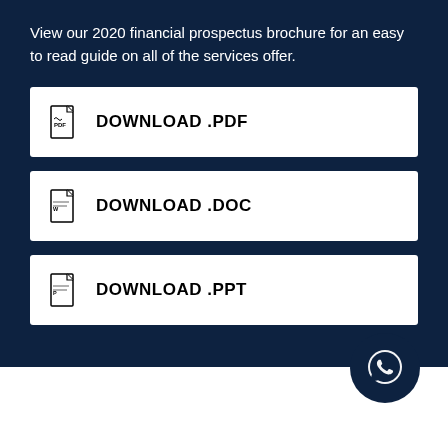View our 2020 financial prospectus brochure for an easy to read guide on all of the services offer.
DOWNLOAD .PDF
DOWNLOAD .DOC
DOWNLOAD .PPT
[Figure (illustration): WhatsApp icon in a dark navy circle, positioned at lower right of dark section]
[Figure (illustration): Red horizontal stripe near bottom of page, above navy footer bar]